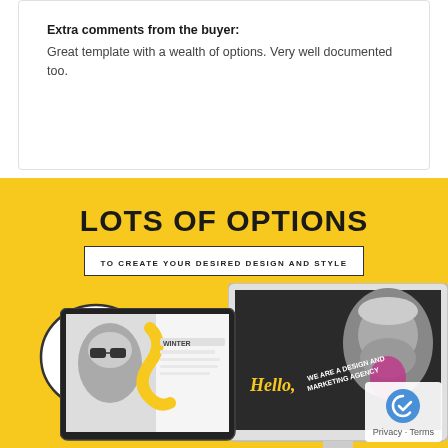Extra comments from the buyer:
Great template with a wealth of options. Very well documented too.
[Figure (infographic): Yellow promotional banner with 'LOTS OF OPTIONS TO CREATE YOUR DESIRED DESIGN AND STYLE' heading, showing devices including a desktop monitor with a man's face, a tablet with a winter fashion design, and a speech bubble saying 'New Intro']
Privacy · Terms